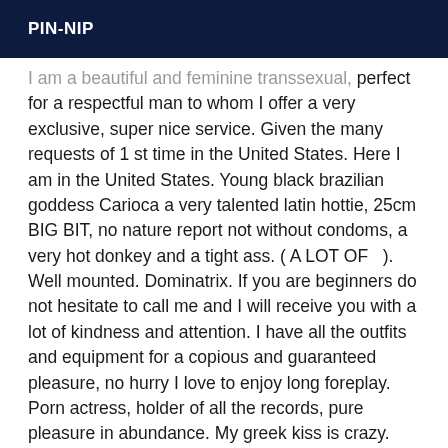PIN-NIP
...I am a beautiful and feminine transsexual, perfect for a respectful man to whom I offer a very exclusive, super nice service. Given the many requests of 1 st time in the United States. Here I am in the United States. Young black brazilian goddess Carioca a very talented latin hottie, 25cm BIG BIT, no nature report not without condoms, a very hot donkey and a tight ass. ( A LOT OF  ). Well mounted. Dominatrix. If you are beginners do not hesitate to call me and I will receive you with a lot of kindness and attention. I have all the outfits and equipment for a copious and guaranteed pleasure, no hurry I love to enjoy long foreplay. Porn actress, holder of all the records, pure pleasure in abundance. My greek kiss is crazy. The passive won't be disappointed with me. I love beginners, newcomers and beginners are welcome. I love to turn males into females. An oversized sex, I will make your eyes turn. Experience with couples, discretion assured. Special